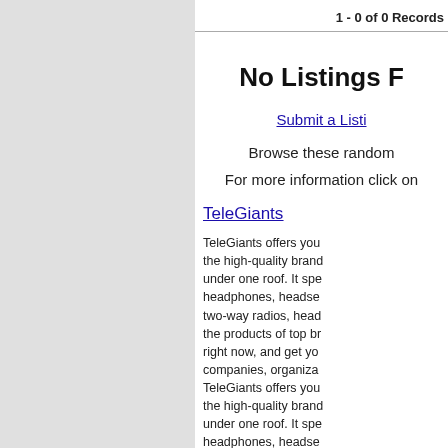1 - 0 of 0 Records
No Listings F
Submit a Listi
Browse these random
For more information click on
TeleGiants
TeleGiants offers you the high-quality brand under one roof. It spe headphones, headse two-way radios, head the products of top br right now, and get yo companies, organiza TeleGiants offers you the high-quality brand under one roof. It spe headphones, headse two-way radios, head the products of top br right now, and get you right now, and get yo